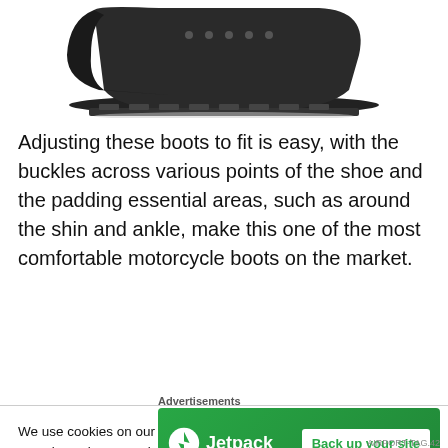[Figure (photo): Bottom portion of a black motorcycle boot with chunky treaded sole, shown from a front-left angle against white background]
Adjusting these boots to fit is easy, with the buckles across various points of the shoe and the padding essential areas, such as around the shin and ankle, make this one of the most comfortable motorcycle boots on the market.
We use cookies on our website to give you the most relevant experience by remembering your preferences and repeat visits. By clicking “Accept”, you consent to the use of ALL the cookies.
Do not sell my personal information
Advertisements
[Figure (screenshot): Jetpack advertisement banner with green background showing Jetpack logo and 'Back up your site' button]